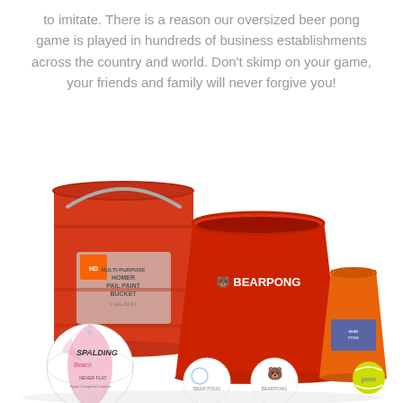to imitate. There is a reason our oversized beer pong game is played in hundreds of business establishments across the country and world. Don't skimp on your game, your friends and family will never forgive you!
[Figure (photo): Photo showing beer pong game components: a red Home Depot 5-gallon paint bucket, a large red Bear Pong branded cup/bucket, a smaller orange plastic cup, a Spalding volleyball, two white Bear Pong branded ping pong balls, and a small yellow tennis ball.]